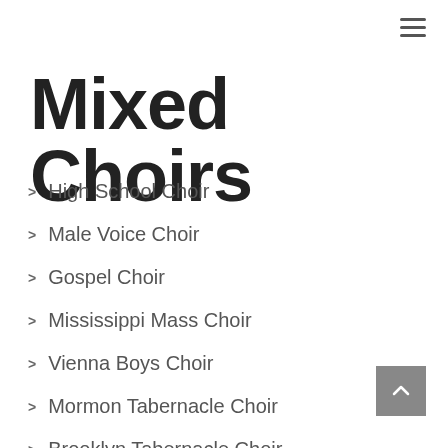Mixed Choirs
High School Choir
Male Voice Choir
Gospel Choir
Mississippi Mass Choir
Vienna Boys Choir
Mormon Tabernacle Choir
Brooklyn Tabernacle Choir
Youth Choir